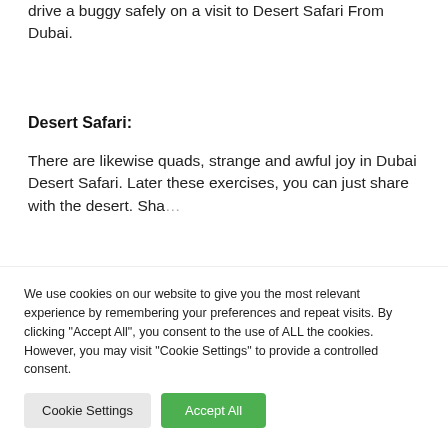drive a buggy safely on a visit to Desert Safari From Dubai.
Desert Safari:
There are likewise quads, strange and awful joy in Dubai Desert Safari. Later these exercises, you can just share with the desert. Sha…
We use cookies on our website to give you the most relevant experience by remembering your preferences and repeat visits. By clicking "Accept All", you consent to the use of ALL the cookies. However, you may visit "Cookie Settings" to provide a controlled consent.